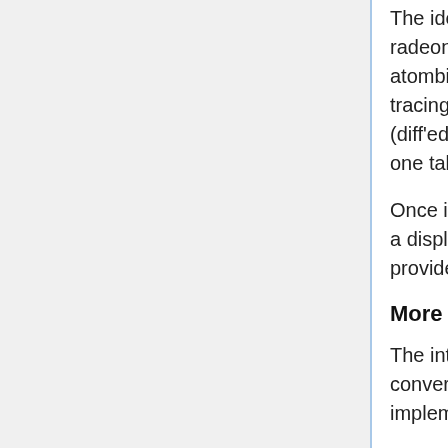The idea is to run the usermode init code, then load a modified radeon driver. The radeon driver is hacked to replace individual atombios calls with native functions. For functions of interest, IO tracing is selectively enabled. The IO trace can then be compared (diff'ed) to the trace left by the native function. Thus it's possible to RE one table at a time.
Once individual functions are stable, the plan is to assemble them into a display init path. This code can then be integrated into coreboot to provide native VGA init.
More info
The integrated display is connected to a RTD2132 DP to LVDS converter, which is fed by the DisplayPort output of the APU. This chip implements the "TRAVIS"